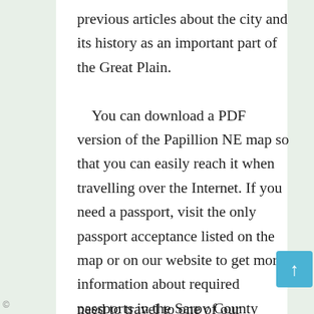previous articles about the city and its history as an important part of the Great Plain.

    You can download a PDF version of the Papillion NE map so that you can easily reach it when travelling over the Internet. If you need a passport, visit the only passport acceptance listed on the map or on our website to get more information about required passports in the Sarpy County region, or you can try our passport service. We are not the travel agency, but you do not need to travel to one of our regional offices